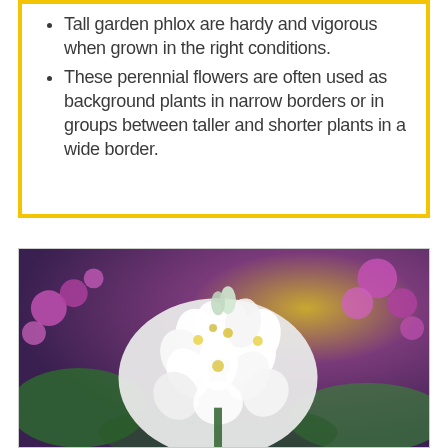Tall garden phlox are hardy and vigorous when grown in the right conditions.
These perennial flowers are often used as background plants in narrow borders or in groups between taller and shorter plants in a wide border.
[Figure (photo): Close-up photograph of white garden phlox flowers in full bloom, with pink/purple phlox flowers blurred in the background and green foliage visible.]